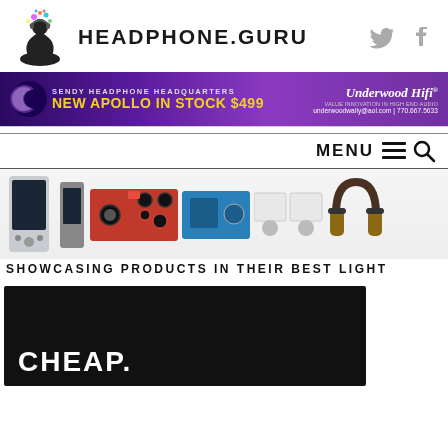HEADPHONE.GURU
[Figure (illustration): Headphone.guru logo - meditating figure with headphones and colorful splash]
[Figure (logo): Twitter and Facebook social media icons]
[Figure (infographic): Sendy Headphone Headquarters banner ad - New Apollo in stock $499 - Underwood HiFi]
MENU
[Figure (photo): Showcase of audio products including DAPs, amplifiers, headphones and audio components]
SHOWCASING PRODUCTS IN THEIR BEST LIGHT
[Figure (photo): Dark background image with white bold text reading CHEAP.]